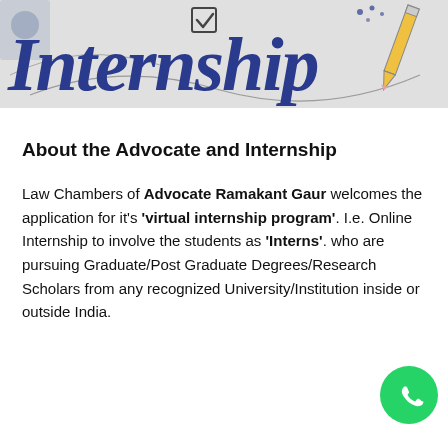[Figure (illustration): Header banner with 'Internship' title in large dark blue bold italic font, with decorative doodles including a pencil, dots, a checkbox, and curved lines on a light grey background]
About the Advocate and Internship
Law Chambers of Advocate Ramakant Gaur welcomes the application for it's 'virtual internship program'. I.e. Online Internship to involve the students as 'Interns'. who are pursuing Graduate/Post Graduate Degrees/Research Scholars from any recognized University/Institution inside or outside India.
[Figure (logo): WhatsApp circular button icon, green background with white phone handset]